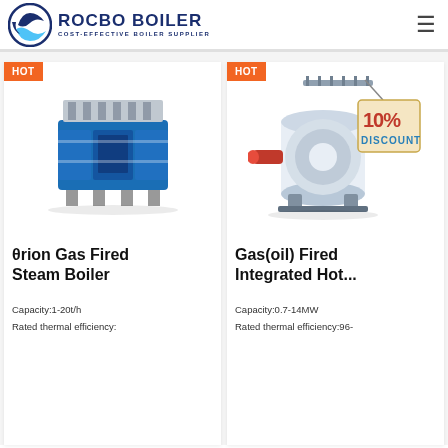ROCBO BOILER - COST-EFFECTIVE BOILER SUPPLIER
[Figure (photo): Blue industrial modular gas fired steam boiler with HOT badge]
θrion Gas Fired Steam Boiler
Capacity:1-20t/h
Rated thermal efficiency:
[Figure (photo): White cylindrical gas oil fired integrated hot water boiler with 10% DISCOUNT sign, HOT badge]
Gas(oil) Fired Integrated Hot...
Capacity:0.7-14MW
Rated thermal efficiency:96-